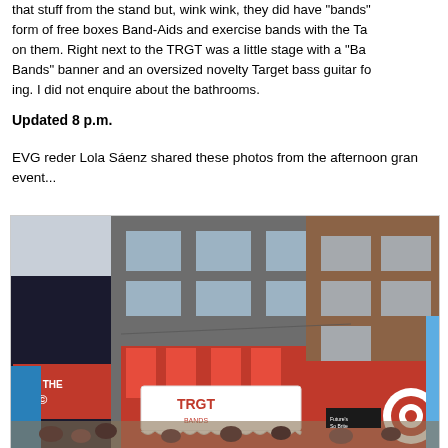that stuff from the stand but, wink wink, they did have "bands" in the form of free boxes Band-Aids and exercise bands with the Ta on them. Right next to the TRGT was a little stage with a "Ba Bands" banner and an oversized novelty Target bass guitar fo ing. I did not enquire about the bathrooms.
Updated 8 p.m.
EVG reder Lola Sáenz shared these photos from the afternoon gran event...
[Figure (photo): Street-level photo of the TRGT (Target) pop-up store grand opening event, showing a white canopy with TRGT branding, red-decorated storefront, surrounding brick buildings, crowds of people on the street, and a Target bullseye logo visible on the right.]